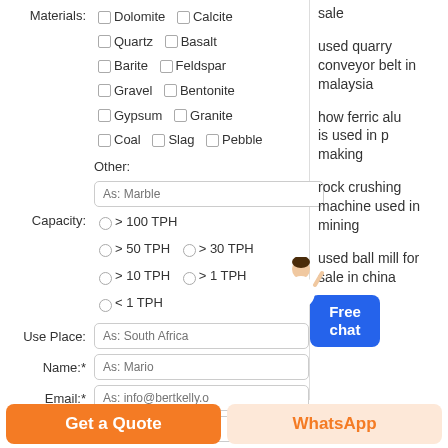Materials: Dolomite, Calcite, Quartz, Basalt, Barite, Feldspar, Gravel, Bentonite, Gypsum, Granite, Coal, Slag, Pebble, Other: (As: Marble)
Capacity: > 100 TPH, > 50 TPH, > 30 TPH, > 10 TPH, > 1 TPH, < 1 TPH
Use Place: As: South Africa
Name:* As: Mario
Email:* As: info@bertkelly.o
sale
used quarry conveyor belt in malaysia
how ferric alu... is used in p... making
rock crushing machine used in mining
used ball mill for sale in china
Free chat
Get a Quote
WhatsApp